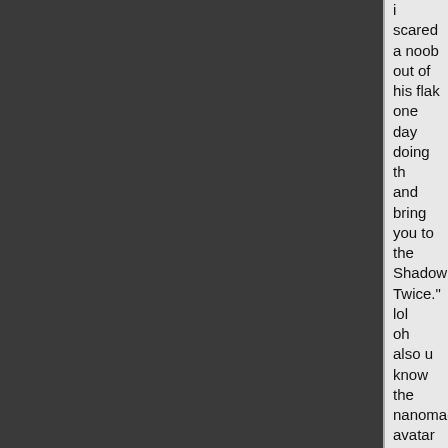i scared a noob out of his flak one day doing th... and bring you to the Shadowlands. Twice." lol
oh also u know the nanomage avatar with the ...
works good with this.

Just wish they wouldnt lift up their leg like a do...
heisann @ 2006-07-09 02:37
atm I am following a 210 doc with QW on. Sel...
yalm
Zejus @ 2006-10-18 21:30
Actually it DOES NOT TERMINATE when you...
only because of a glitch where it checks your b...
change zones. So this one worked properly fo...
cheaper than a yalm.

Runspeed: For a meta without any points in ru...
(+ it looks cooler, and flying is just easier)
rattjamann @ 2006-10-29 04:59
if u look in ur ncu window as u zone, they are a...
and decides that u dont have the right skill and...
not terminate
rattjamann @ 2006-10-29 16:12
ah one more thing =D this + scythe ... robjer h...